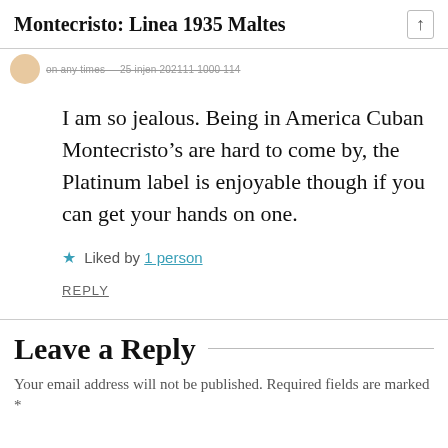Montecristo: Linea 1935 Maltes
I am so jealous. Being in America Cuban Montecristo’s are hard to come by, the Platinum label is enjoyable though if you can get your hands on one.
★ Liked by 1 person
REPLY
Leave a Reply
Your email address will not be published. Required fields are marked *